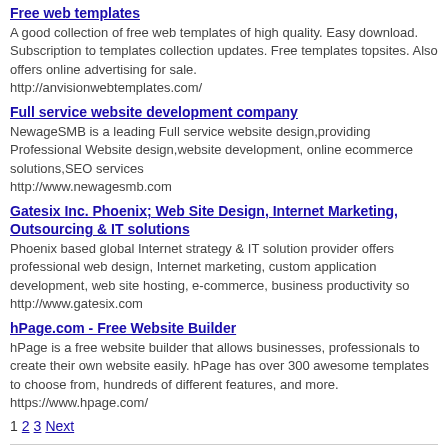Free web templates
A good collection of free web templates of high quality. Easy download. Subscription to templates collection updates. Free templates topsites. Also offers online advertising for sale.
http://anvisionwebtemplates.com/
Full service website development company
NewageSMB is a leading Full service website design,providing Professional Website design,website development, online ecommerce solutions,SEO services
http://www.newagesmb.com
Gatesix Inc. Phoenix; Web Site Design, Internet Marketing, Outsourcing & IT solutions
Phoenix based global Internet strategy & IT solution provider offers professional web design, Internet marketing, custom application development, web site hosting, e-commerce, business productivity so
http://www.gatesix.com
hPage.com - Free Website Builder
hPage is a free website builder that allows businesses, professionals to create their own website easily. hPage has over 300 awesome templates to choose from, hundreds of different features, and more.
https://www.hpage.com/
1 2 3 Next
BROWSE ENTIRE MALL
[Figure (photo): Image of a mall building facade with decorative architecture]